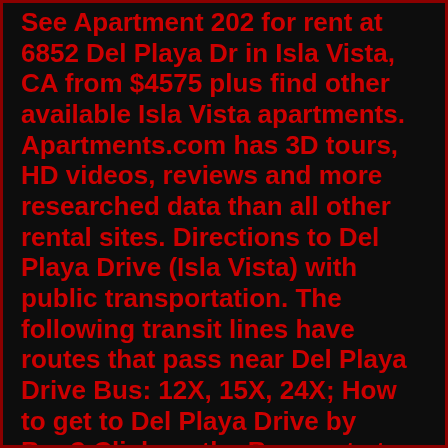See Apartment 202 for rent at 6852 Del Playa Dr in Isla Vista, CA from $4575 plus find other available Isla Vista apartments. Apartments.com has 3D tours, HD videos, reviews and more researched data than all other rental sites. Directions to Del Playa Drive (Isla Vista) with public transportation. The following transit lines have routes that pass near Del Playa Drive Bus: 12X, 15X, 24X; How to get to Del Playa Drive by Bus? Click on the Bus route to see step by step directions with maps, line arrival times and updated time schedules.. 6777 Del Playa Drive, Isla Vista, CA 93117 is a townhouse not currently listed. This is a 20-bed, 10-bath, 6,615 sqft property. 6 beds, 4 baths · 1,992 sq. ft. · 6600 VISTA DEL MAR, Playa Del Rey, CA 90293 · Sold for: $1,995,000 on Oct 25, 2016 · MLS#: 16163120 · Priced for quick sale! Big Ocean & Lagoon View Duplex located in the heart of surf-pounding Silicon Beach. Private, direct Beach and Park access. This LAR-3 complex is updated and turnkey. This majestic jewel boasts a unique architectural. Zestimate® Home Value: $1,180,300. 6622 Del Playa Dr #A, Isla Vista, CA is a multi-family home. It